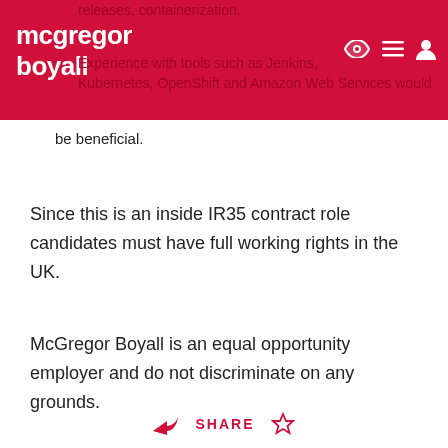mcgregor boyall
releases, containerization.
Experience with tools such as Jenkins, Hack Kubernetes, OpenShift and Amazon Web Services would be beneficial.
Since this is an inside IR35 contract role candidates must have full working rights in the UK.
McGregor Boyall is an equal opportunity employer and do not discriminate on any grounds.
SHARE